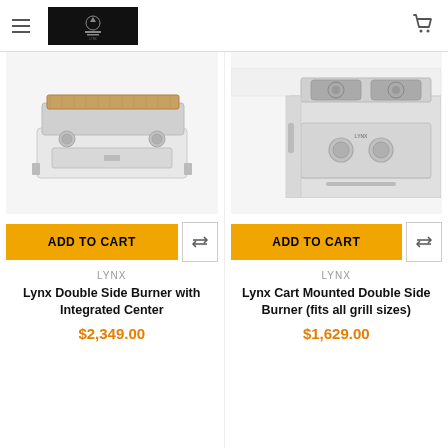Lynx Grills navigation header with logo and cart
[Figure (photo): Lynx Double Side Burner with Integrated Center product photo - stainless steel outdoor grill accessory with wooden cutting board surface and two knobs]
[Figure (photo): Lynx Cart Mounted Double Side Burner product photo - stainless steel outdoor cooking unit mounted on cart with two burners and control knobs]
ADD TO CART
ADD TO CART
LYNX
LYNX
Lynx Double Side Burner with Integrated Center
Lynx Cart Mounted Double Side Burner (fits all grill sizes)
$2,349.00
$1,629.00